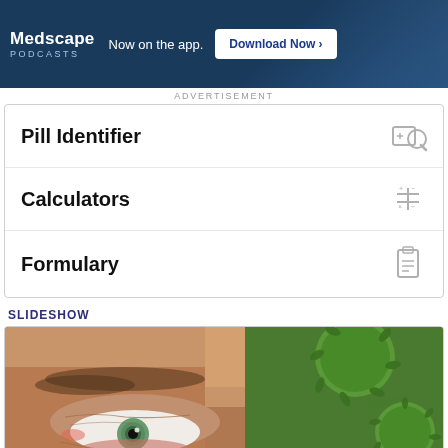[Figure (photo): Medscape Podcasts advertisement banner: dark blue background with Medscape Podcasts logo, 'Now on the app.' text, and a 'Download Now >' button]
ADVERTISEMENT
Pill Identifier
Calculators
Formulary
SLIDESHOW
[Figure (photo): Close-up image of an elderly person's eye with green virus/pathogen particles overlaid, suggesting an eye infection or disease topic for a medical slideshow]